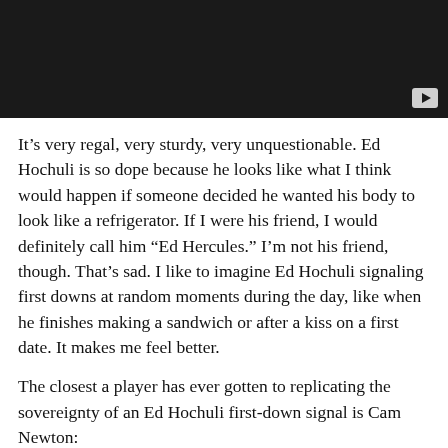[Figure (screenshot): Dark video player placeholder with a play button in the bottom-right corner]
It’s very regal, very sturdy, very unquestionable. Ed Hochuli is so dope because he looks like what I think would happen if someone decided he wanted his body to look like a refrigerator. If I were his friend, I would definitely call him “Ed Hercules.” I’m not his friend, though. That’s sad. I like to imagine Ed Hochuli signaling first downs at random moments during the day, like when he finishes making a sandwich or after a kiss on a first date. It makes me feel better.
The closest a player has ever gotten to replicating the sovereignty of an Ed Hochuli first-down signal is Cam Newton: